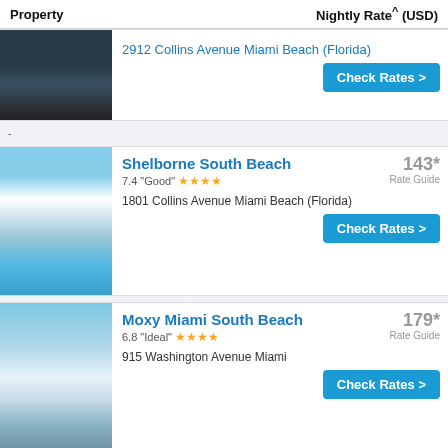Property | Nightly Rate^ (USD)
2912 Collins Avenue Miami Beach (Florida)
Check Rates >
-
Shelborne South Beach
7.4 "Good" ★★★★
143* Rate Guide
1801 Collins Avenue Miami Beach (Florida)
Check Rates >
Moxy Miami South Beach
6.8 "Ideal" ★★★★
179* Rate Guide
915 Washington Avenue Miami
Check Rates >